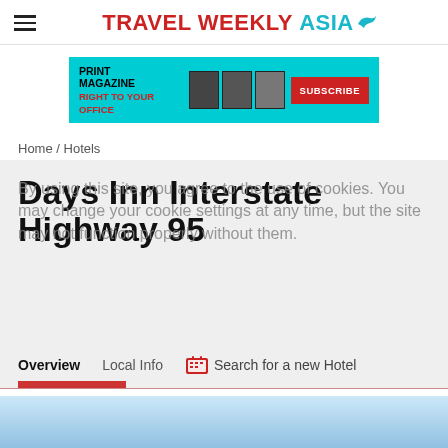TRAVEL WEEKLY ASIA
[Figure (infographic): Advertisement banner: PRINT MAGAZINE RIGHT TO YOUR OFFICE with magazine covers and SUBSCRIBE button on cyan background]
Home / Hotels
Days Inn Interstate Highway 95
By using this site, you agree to the use of cookies. You may change your cookie settings at any time, but the site may not function properly without them.
Overview   Local Info   Search for a new Hotel
[Figure (photo): Hotel exterior or interior photo placeholder area with gray boxes]
[Figure (photo): Blue sky background strip at bottom of page]